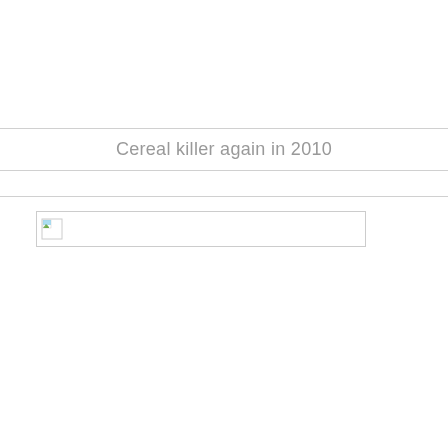Cereal killer again in 2010
[Figure (photo): Broken/missing image placeholder with small icon in a rectangular box]